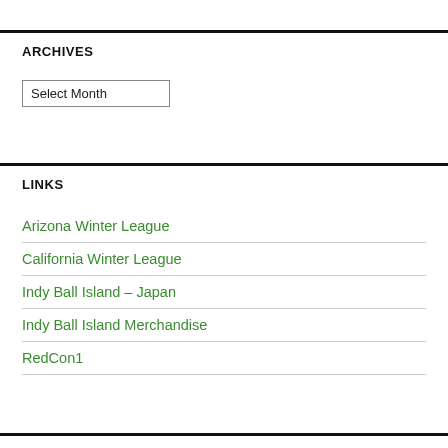ARCHIVES
Select Month
LINKS
Arizona Winter League
California Winter League
Indy Ball Island – Japan
Indy Ball Island Merchandise
RedCon1